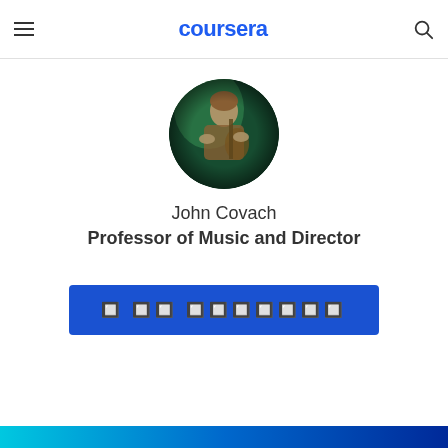coursera
[Figure (photo): Circular profile photo of instructor John Covach playing guitar in a green-lit environment]
John Covach
Professor of Music and Director
🔲 🔲🔲 🔲🔲🔲🔲🔲🔲🔲